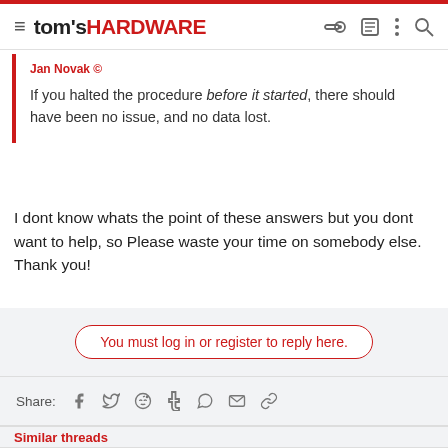tom's HARDWARE
If you halted the procedure before it started, there should have been no issue, and no data lost.
I dont know whats the point of these answers but you dont want to help, so Please waste your time on somebody else. Thank you!
You must log in or register to reply here.
Share:
Similar threads
Question  Windows Drive Keeps Reverting to a Previous State